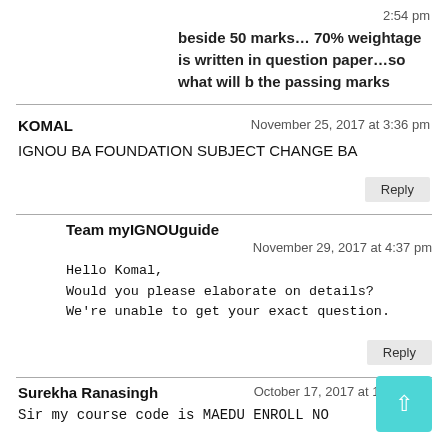2:54 pm
beside 50 marks… 70% weightage is written in question paper…so what will b the passing marks
KOMAL
November 25, 2017 at 3:36 pm
IGNOU BA FOUNDATION SUBJECT CHANGE BA
Reply
Team myIGNOUguide
November 29, 2017 at 4:37 pm
Hello Komal,
Would you please elaborate on details?
We're unable to get your exact question.
Reply
Surekha Ranasingh
October 17, 2017 at 10:42 am:
Sir my course code is MAEDU ENROLL NO